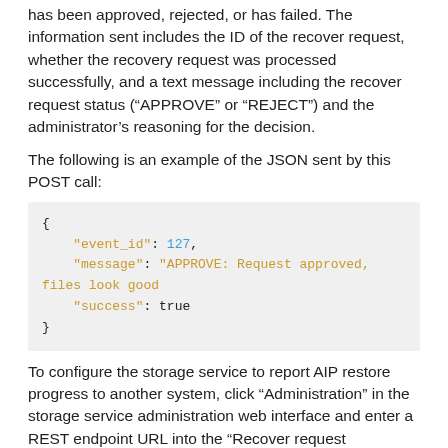has been approved, rejected, or has failed. The information sent includes the ID of the recover request, whether the recovery request was processed successfully, and a text message including the recover request status (“APPROVE” or “REJECT”) and the administrator’s reasoning for the decision.
The following is an example of the JSON sent by this POST call:
{
    "event_id": 127,
    "message": "APPROVE: Request approved, files look good
    "success": true
}
To configure the storage service to report AIP restore progress to another system, click “Administration” in the storage service administration web interface and enter a REST endpoint URL into the “Recover request notification url” field.
If the endpoint requires basic authentication, you’ll also need to enter a username and password into the two fields below it. Click “Save” when you’re done.
Back to the top